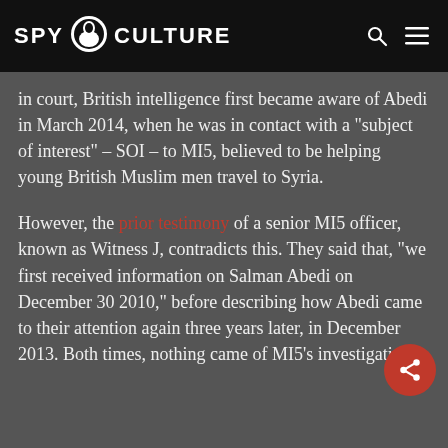SPY CULTURE
in court, British intelligence first became aware of Abedi in March 2014, when he was in contact with a “subject of interest” – SOI – to MI5, believed to be helping young British Muslim men travel to Syria.
However, the prior testimony of a senior MI5 officer, known as Witness J, contradicts this. They said that, “we first received information on Salman Abedi on December 30 2010,” before describing how Abedi came to their attention again three years later, in December 2013. Both times, nothing came of MI5’s investigations